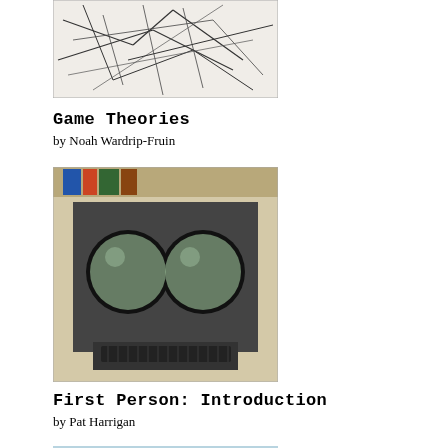[Figure (photo): Abstract black line drawing on white background, resembling a map or network of intersecting lines]
Game Theories
by Noah Wardrip-Fruin
[Figure (photo): Vintage computer terminal with two circular CRT screens and a keyboard, photographed in color]
First Person: Introduction
by Pat Harrigan
[Figure (photo): A beige device or box mounted on a light blue wall, with papers and objects on a white table below]